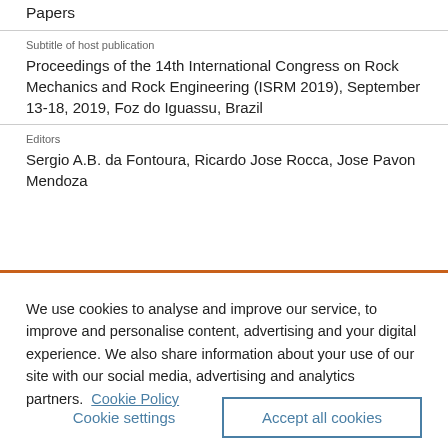Papers
Subtitle of host publication
Proceedings of the 14th International Congress on Rock Mechanics and Rock Engineering (ISRM 2019), September 13-18, 2019, Foz do Iguassu, Brazil
Editors
Sergio A.B. da Fontoura, Ricardo Jose Rocca, Jose Pavon Mendoza
We use cookies to analyse and improve our service, to improve and personalise content, advertising and your digital experience. We also share information about your use of our site with our social media, advertising and analytics partners.  Cookie Policy
Cookie settings
Accept all cookies